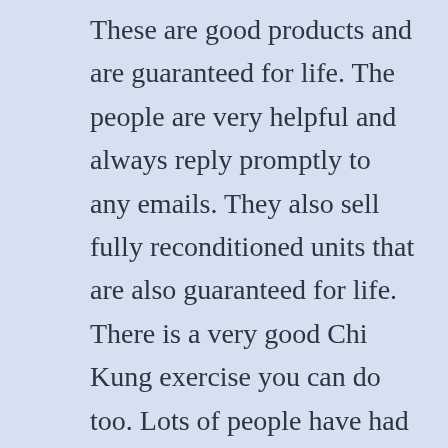These are good products and are guaranteed for life. The people are very helpful and always reply promptly to any emails. They also sell fully reconditioned units that are also guaranteed for life. There is a very good Chi Kung exercise you can do too. Lots of people have had cures for a variety of conditions doing this. Sit down and clap your hands firmly and stamp your feet firmly while you clap going left right left right and family fast. Do this for about a minute more if you like then continue and